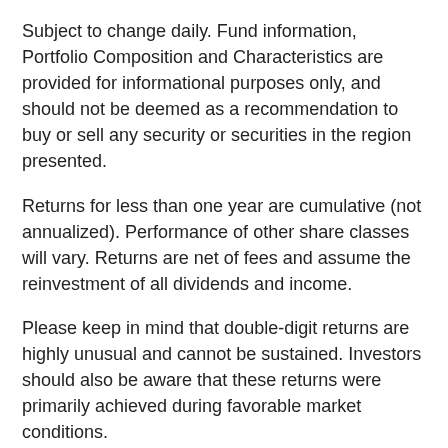Subject to change daily. Fund information, Portfolio Composition and Characteristics are provided for informational purposes only, and should not be deemed as a recommendation to buy or sell any security or securities in the region presented.
Returns for less than one year are cumulative (not annualized). Performance of other share classes will vary. Returns are net of fees and assume the reinvestment of all dividends and income.
Please keep in mind that double-digit returns are highly unusual and cannot be sustained. Investors should also be aware that these returns were primarily achieved during favorable market conditions.
Forecasts/estimates are based on current market conditions, subject to change, and may not necessarily come to pass.
This material is a general communication, which is not impartial and all information provided has been prepared solely for informational and educational purposes and does